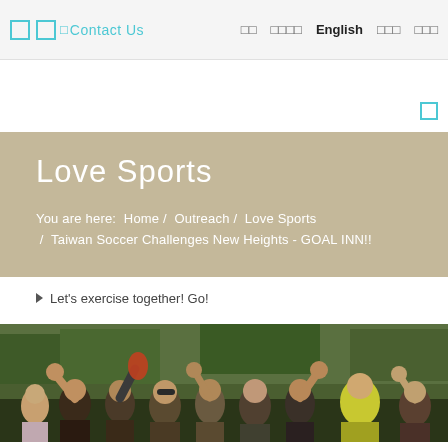□ □ □ Contact Us  □□ □□□□ English □□□ □□□
Love Sports
You are here:  Home /  Outreach /  Love Sports  /  Taiwan Soccer Challenges New Heights - GOAL INN!!
▲  Let's exercise together!  Go!
[Figure (photo): Crowd of people celebrating, raising fists in the air at a soccer event. People wearing casual clothes, one person in a yellow jersey visible on the right.]